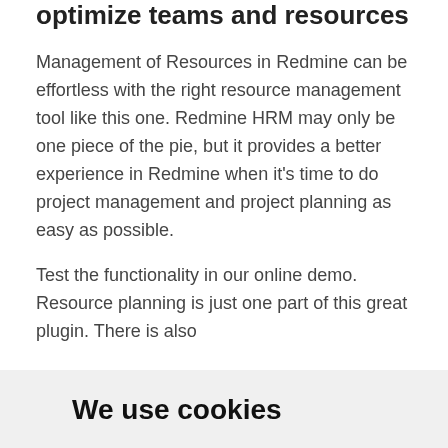optimize teams and resources
Management of Resources in Redmine can be effortless with the right resource management tool like this one. Redmine HRM may only be one piece of the pie, but it provides a better experience in Redmine when it's time to do project management and project planning as easy as possible.
Test the functionality in our online demo. Resource planning is just one part of this great plugin. There is also
We use cookies
We use cookies and other tracking technologies to improve your browsing experience on our website, to show you personalized content and targeted ads, to analyze our website traffic, and